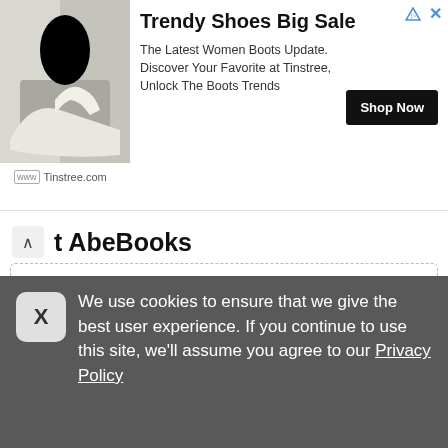[Figure (infographic): Ad banner for Tinstree.com showing women's boots with 'Trendy Shoes Big Sale' headline, description text, and Shop Now button]
t AbeBooks
Save Up to 55% Off Select Brand New Books
VIEW OFFER
Share
0 times used
[Figure (other): Partially visible offer card with blue diagonal ribbon labeled 'Offer']
We use cookies to ensure that we give the best user experience. If you continue to use this site, we'll assume you agree to our Privacy Policy